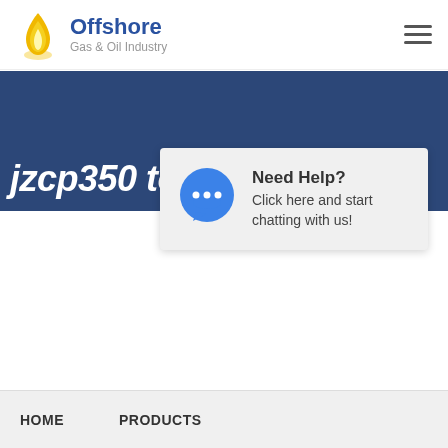Offshore Gas & Oil Industry
jzcp350 towable drum
[Figure (other): Chat bubble popup widget with 'Need Help? Click here and start chatting with us!' message and a blue speech bubble icon with three dots]
Need Help? Click here and start chatting with us!
HOME   PRODUCTS